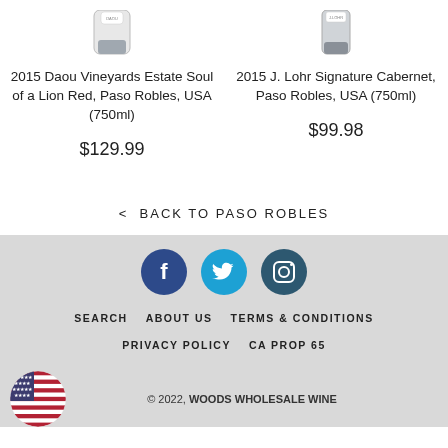[Figure (photo): Partial bottle image of 2015 Daou Vineyards Estate Soul of a Lion Red wine, cropped at top]
2015 Daou Vineyards Estate Soul of a Lion Red, Paso Robles, USA (750ml)
$129.99
[Figure (photo): Partial bottle image of 2015 J. Lohr Signature Cabernet wine, cropped at top]
2015 J. Lohr Signature Cabernet, Paso Robles, USA (750ml)
$99.98
< BACK TO PASO ROBLES
[Figure (logo): Social media icons: Facebook (dark blue circle with f), Twitter (cyan circle with bird), Instagram (dark teal circle with camera icon)]
SEARCH   ABOUT US   TERMS & CONDITIONS
PRIVACY POLICY   CA PROP 65
[Figure (logo): US flag circular badge in bottom left]
© 2022, WOODS WHOLESALE WINE